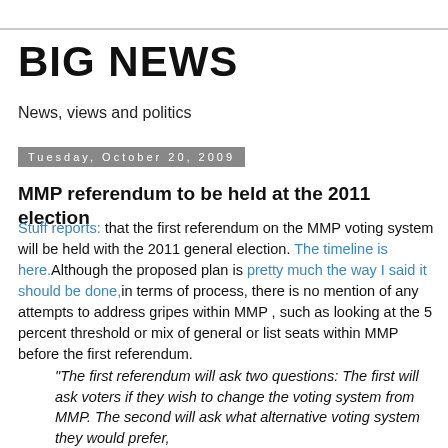BIG NEWS
News, views and politics
Tuesday, October 20, 2009
MMP referendum to be held at the 2011 election
Stuff reports: that the first referendum on the MMP voting system will be held with the 2011 general election. The timeline is here.Although the proposed plan is pretty much the way I said it should be done,in terms of process, there is no mention of any attempts to address gripes within MMP , such as looking at the 5 percent threshold or mix of general or list seats within MMP before the first referendum.
"The first referendum will ask two questions: The first will ask voters if they wish to change the voting system from MMP. The second will ask what alternative voting system they would prefer,